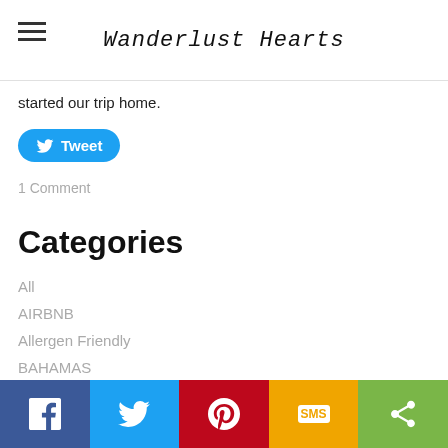Wanderlust Hearts
started our trip home.
[Figure (other): Tweet button (Twitter share button, blue rounded rectangle with bird icon and 'Tweet' text)]
1 Comment
Categories
All
AIRBNB
Allergen Friendly
BAHAMAS
Barcelona
BOSTON
California
Canada
[Figure (other): Social share bar at bottom: Facebook (blue), Twitter (light blue), Pinterest (red), SMS (yellow/orange), Share (green)]